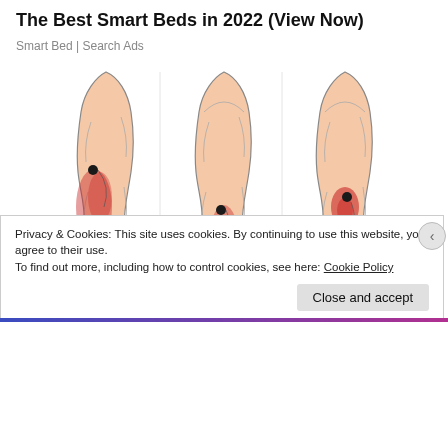The Best Smart Beds in 2022 (View Now)
Smart Bed | Search Ads
[Figure (illustration): Three medical illustrations of human lower legs (posterior view) showing trigger point pain referral patterns. Each leg shows a black dot indicating a trigger point and red shaded areas showing referred pain zones. Left leg: trigger point near upper calf, large red area on mid-calf. Middle leg: trigger point lower on calf, red area extending down to ankle. Right leg: trigger point mid-calf, red area from mid-calf down to Achilles and heel.]
Privacy & Cookies: This site uses cookies. By continuing to use this website, you agree to their use.
To find out more, including how to control cookies, see here: Cookie Policy
Close and accept